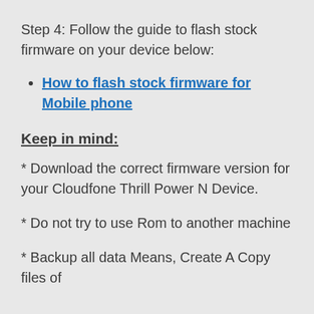Step 4: Follow the guide to flash stock firmware on your device below:
How to flash stock firmware for Mobile phone
Keep in mind:
* Download the correct firmware version for your Cloudfone Thrill Power N Device.
* Do not try to use Rom to another machine
* Backup all data Means, Create A Copy files of